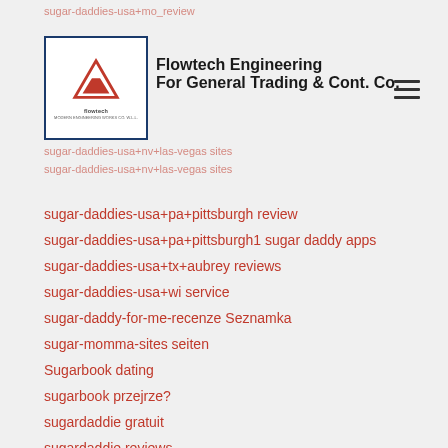sugar-daddies-usa+mo review | Flowtech Engineering For General Trading & Cont. Co.
sugar-daddies-usa+pa+pittsburgh review
sugar-daddies-usa+pa+pittsburgh1 sugar daddy apps
sugar-daddies-usa+tx+aubrey reviews
sugar-daddies-usa+wi service
sugar-daddy-for-me-recenze Seznamka
sugar-momma-sites seiten
Sugarbook dating
sugarbook przejrze?
sugardaddie gratuit
sugardaddie reviews
sugardaddie visitors